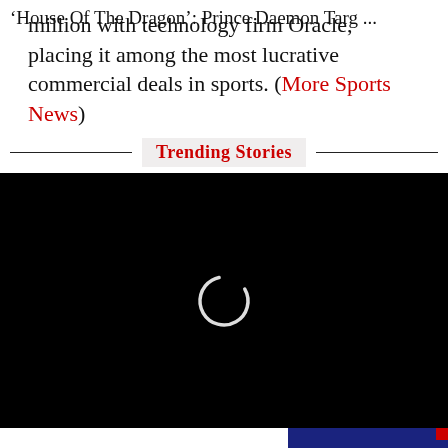million with technology firm Oracle, placing it among the most lucrative commercial deals in sports. (More Sports News)
Trending Stories
[Figure (other): Black video player with loading spinner ring in the center]
'House Of The Dragon': Prince Daemon Targ ...
[Figure (other): Advertisement: Join the Outlook Club For Just ₹499]